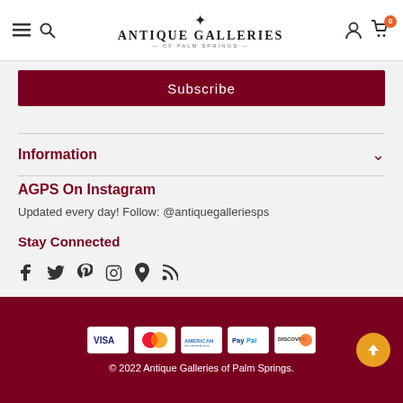Antique Galleries of Palm Springs — navigation header with menu, search, account, and cart icons
Subscribe
Information
AGPS On Instagram
Updated every day! Follow: @antiquegalleriesps
Stay Connected
[Figure (other): Social media icons: Facebook, Twitter, Pinterest, Instagram, Location pin, RSS feed]
[Figure (other): Payment method icons: Visa, Mastercard, American Express, PayPal, Discover]
© 2022 Antique Galleries of Palm Springs.